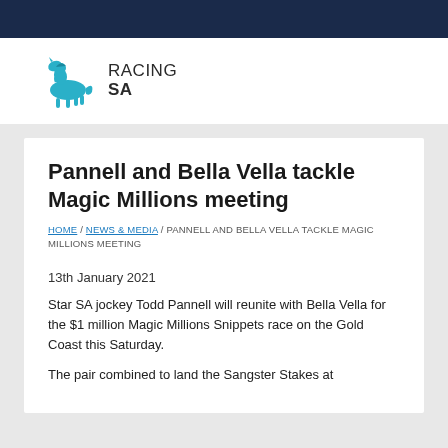[Figure (logo): Racing SA logo with jockey and horse silhouette in teal/cyan color, with text RACING SA]
Pannell and Bella Vella tackle Magic Millions meeting
HOME / NEWS & MEDIA / PANNELL AND BELLA VELLA TACKLE MAGIC MILLIONS MEETING
13th January 2021
Star SA jockey Todd Pannell will reunite with Bella Vella for the $1 million Magic Millions Snippets race on the Gold Coast this Saturday.
The pair combined to land the Sangster Stakes at